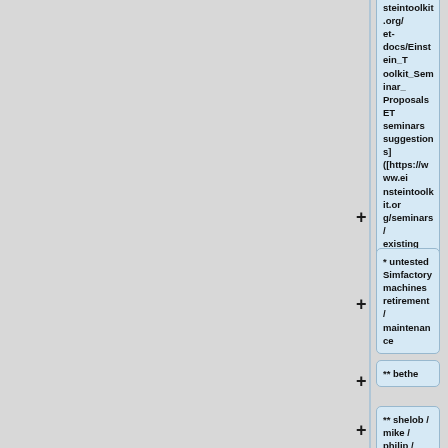steintoolkit.org/et-docs/Einstein_Toolkit_Seminar_Proposals ET seminars suggestions] ([https://www.einsteintoolkit.org/seminars/existing seminars])[RH]
* untested Simfactory machines retirement / maintenance
** bethe
** shelob / mike / philip / melete05